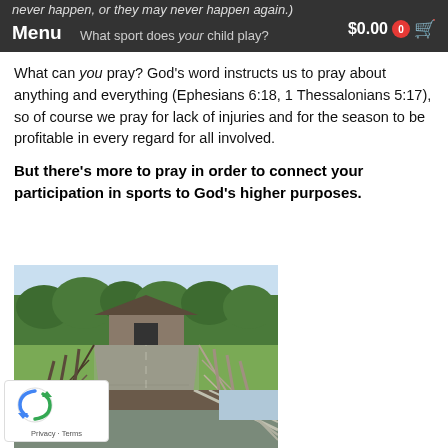never happen, or they may never happen again.)
Menu   What sport does your child play?   $0.00  0
What can you pray? God’s word instructs us to pray about anything and everything (Ephesians 6:18, 1 Thessalonians 5:17), so of course we pray for lack of injuries and for the season to be profitable in every regard for all involved.
But there’s more to pray in order to connect your participation in sports to God’s higher purposes.
[Figure (photo): A paved driveway or path flanked by wooden ranch fencing on both sides, leading to a building in the background, with trees and green fields visible. Farm or equestrian facility setting.]
[Figure (photo): Partial view of a building rooftop and fencing, similar farm/equestrian setting, bottom portion of page.]